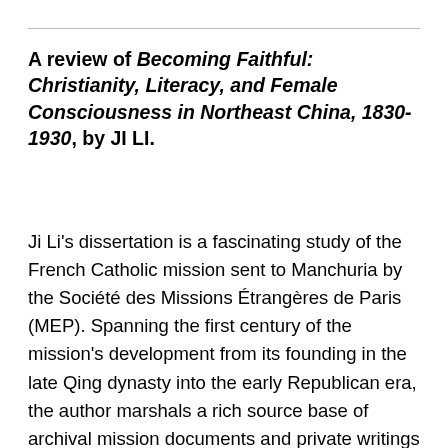A review of Becoming Faithful: Christianity, Literacy, and Female Consciousness in Northeast China, 1830-1930, by JI LI.
Ji Li's dissertation is a fascinating study of the French Catholic mission sent to Manchuria by the Société des Missions Étrangères de Paris (MEP). Spanning the first century of the mission's development from its founding in the late Qing dynasty into the early Republican era, the author marshals a rich source base of archival mission documents and private writings in both French and Chinese, supplemented by published records and local gazetteers. Li argues that by approaching conversion as a process of education, the